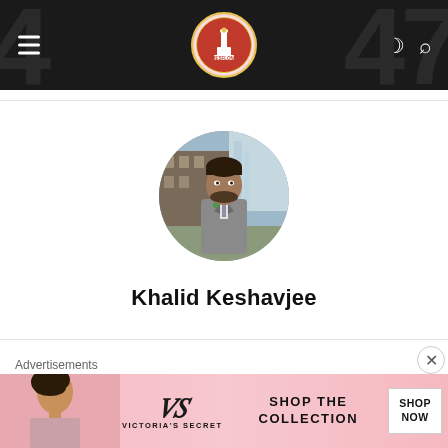[Figure (screenshot): Website header with dark background, hamburger menu icon on left, circular logo in center (red/gold Calgary tower logo with text 'FLAMESFLONG.CA EST.2015'), moon and search icons on right]
[Figure (photo): Circular profile photo of Khalid Keshavjee, a man wearing a grey suit standing outdoors near a waterfall and stone building]
Khalid Keshavjee
Advertisements
[Figure (photo): Victoria's Secret advertisement banner with pink background, model on left, VS logo in center, 'SHOP THE COLLECTION' text and 'SHOP NOW' CTA button on right]